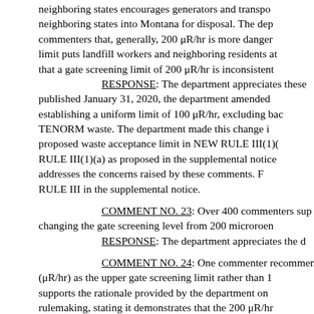neighboring states encourages generators and transporters to bring waste from neighboring states into Montana for disposal. The department agrees with these commenters that, generally, 200 μR/hr is more dangerous than 100 μR/hr, and this limit puts landfill workers and neighboring residents at risk. Commenters also stated that a gate screening limit of 200 μR/hr is inconsistent with federal guidance.
RESPONSE: The department appreciates these comments. In the notice published January 31, 2020, the department amended NEW RULE III(1)(b) by establishing a uniform limit of 100 μR/hr, excluding background, for the receipt of TENORM waste. The department made this change in response to concerns about the proposed waste acceptance limit in NEW RULE III(1)(b) and has revised NEW RULE III(1)(a) as proposed in the supplemental notice of rulemaking. This revision addresses the concerns raised by these comments. Please see the discussion of NEW RULE III in the supplemental notice.
COMMENT NO. 23: Over 400 commenters supported the department changing the gate screening level from 200 microroentgens per hour...
RESPONSE: The department appreciates the c...
COMMENT NO. 24: One commenter recommended using 50 microroentgens per hour (μR/hr) as the upper gate screening limit rather than 100 μR/hr. The commenter supports the rationale provided by the department on health risks associated with this rulemaking, stating it demonstrates that the 200 μR/hr limit is not protective of human health for both TENORM waste and TENORM-contaminated equipment. The commenter stated that the analysis previously provided by the department shows that the estimated exposure to a facility worker...